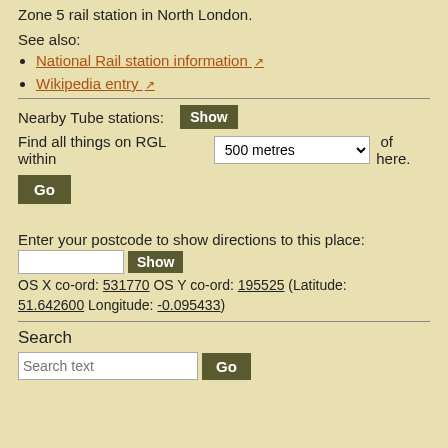Zone 5 rail station in North London.
See also:
National Rail station information [external link]
Wikipedia entry [external link]
Nearby Tube stations: Show
Find all things on RGL within [500 metres dropdown] of here. Go
Enter your postcode to show directions to this place: [input] Show
OS X co-ord: 531770 OS Y co-ord: 195525 (Latitude: 51.642600 Longitude: -0.095433)
Search
[Search text input] Go